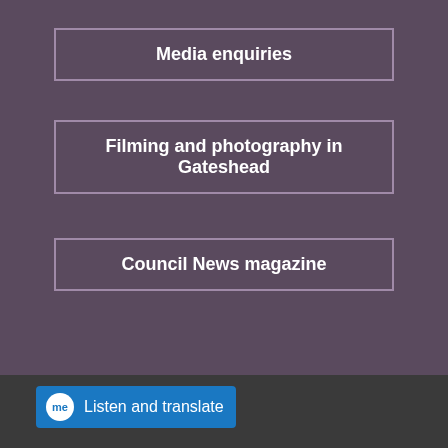Media enquiries
Filming and photography in Gateshead
Council News magazine
Listen and translate